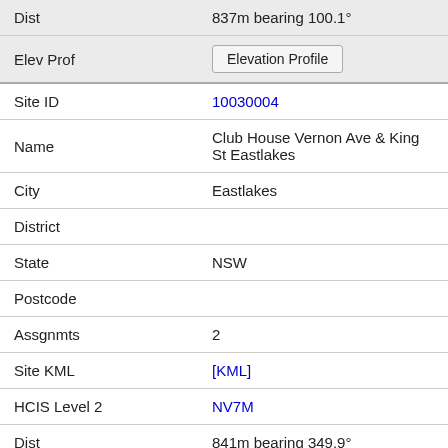| Dist | 837m bearing 100.1° |
| Elev Prof | [Elevation Profile] |
| Site ID | 10030004 |
| Name | Club House Vernon Ave & King St Eastlakes |
| City | Eastlakes |
| District |  |
| State | NSW |
| Postcode |  |
| Assgnmts | 2 |
| Site KML | [KML] |
| HCIS Level 2 | NV7M |
| Dist | 841m bearing 349.9° |
| Elev Prof | [Elevation Profile] |
| Site ID | 203837 |
| Name | Bonnie Doon Golf Club Banks Ave PAGEWOOD |
| City | PAGEWOOD |